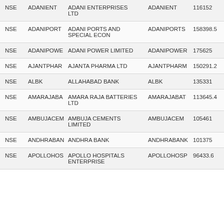| NSE | ADANIENT | ADANI ENTERPRISES LTD | ADANIENT | 116152 |
| NSE | ADANIPORT | ADANI PORTS AND SPECIAL ECON | ADANIPORTS | 158398.5 |
| NSE | ADANIPOWE | ADANI POWER LIMITED | ADANIPOWER | 175625 |
| NSE | AJANTPHAR | AJANTA PHARMA LTD | AJANTPHARM | 150291.2 |
| NSE | ALBK | ALLAHABAD BANK | ALBK | 135331 |
| NSE | AMARAJABA | AMARA RAJA BATTERIES LTD | AMARAJABAT | 113645.4 |
| NSE | AMBUJACEM | AMBUJA CEMENTS LIMITED | AMBUJACEM | 105461 |
| NSE | ANDHRABAN | ANDHRA BANK | ANDHRABANK | 101375 |
| NSE | APOLLOHOS | APOLLO HOSPITALS ENTERPRISE | APOLLOHOSP | 96433.6 |